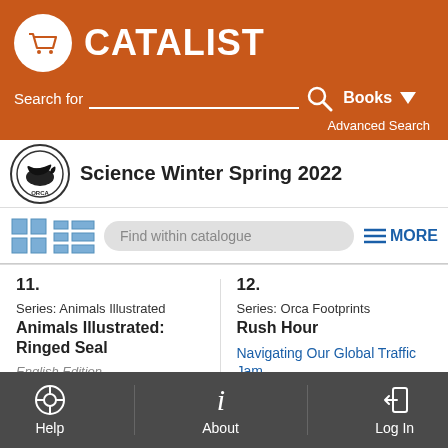[Figure (screenshot): Catalist bookstore website screenshot showing header with orange background, CATALIST logo with shopping cart icon, search bar, Books dropdown, Advanced Search link, Orca Books logo with 'Science Winter Spring 2022' title, view toggle icons, find within catalogue search bar, MORE button, and two catalogue listings: 11. Animals Illustrated: Ringed Seal by William Flaherty, and 12. Rush Hour / Navigating Our Global Traffic Jam by Erin Silver, with Help, About, Log In footer navigation.]